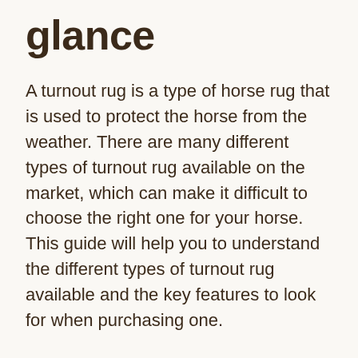glance
A turnout rug is a type of horse rug that is used to protect the horse from the weather. There are many different types of turnout rug available on the market, which can make it difficult to choose the right one for your horse. This guide will help you to understand the different types of turnout rug available and the key features to look for when purchasing one.
Turnout rugs are available in a variety of different materials, the most popular being wool, cotton, and polyester. Wool is a natural material that is strong and durable, making it ideal for protecting your horse from the